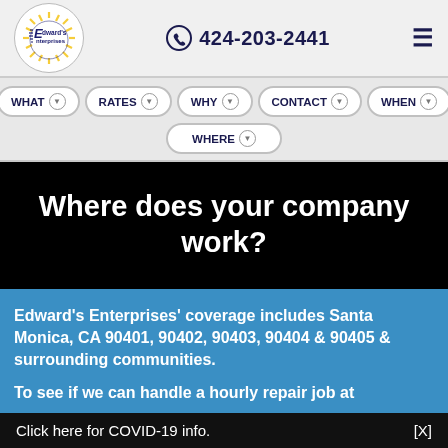[Figure (logo): Edward's Enterprises circular logo with sun/rays motif and company name]
424-203-2441
≡ (hamburger menu icon)
WHAT ⊙  RATES ⊙  WHY ⊙  CONTACT ⊙  WHEN ⊙
WHERE ⊙
Where does your company work?
Edward's Enterprises' coverage includes Santa Monica, CA 90401, 90402, 90403, 90404 & 90405 & surrounding communities.
To see if we can handle a hourly repair job at
Click here for COVID-19 info.    [X]